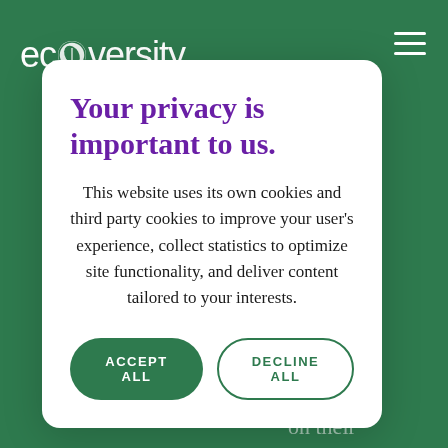ecoversity
Your privacy is important to us.
This website uses its own cookies and third party cookies to improve your user's experience, collect statistics to optimize site functionality, and deliver content tailored to your interests.
ACCEPT ALL
DECLINE ALL